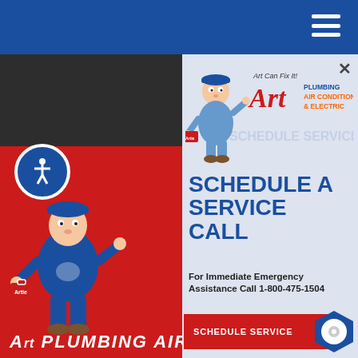[Figure (screenshot): Website screenshot showing Art Plumbing, Air Conditioning & Electric service scheduling modal popup over a website background with blue navigation bar, red sidebar with plumber mascot, accessibility icon, and a modal dialog showing logo, SCHEDULE A SERVICE CALL heading, emergency phone number, and Schedule Service button]
SCHEDULE A SERVICE CALL
For Immediate Emergency Assistance Call 1-800-475-1504
SCHEDULE SERVICE